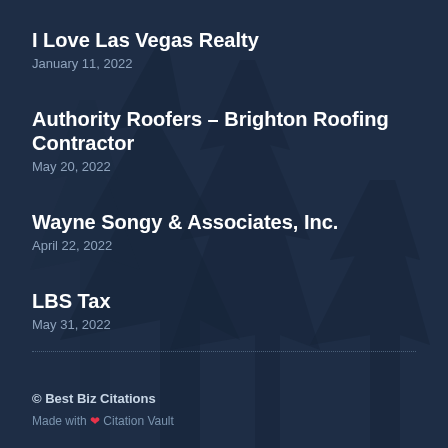I Love Las Vegas Realty
January 11, 2022
Authority Roofers – Brighton Roofing Contractor
May 20, 2022
Wayne Songy & Associates, Inc.
April 22, 2022
LBS Tax
May 31, 2022
© Best Biz Citations
Made with ❤ Citation Vault